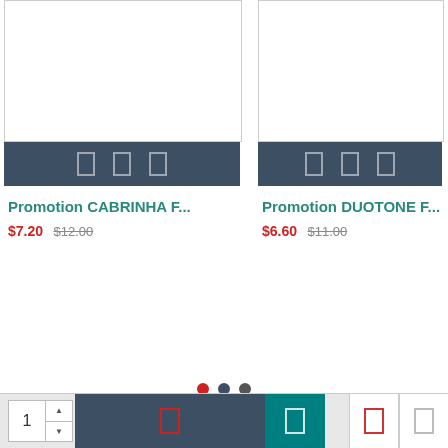[Figure (screenshot): Product card for Promotion CABRINHA F... with product image placeholder, action bar with icons, price $7.20 (sale) and $12.00 (original)]
Promotion CABRINHA F...
$7.20  $12.00
[Figure (screenshot): Product card for Promotion DUOTONE F... with product image placeholder, action bar with icons, price $6.60 (sale) and $11.00 (original)]
Promotion DUOTONE F...
$6.60  $11.00
FREE SHIPPING
Free delivery over $60
FREE RETURNS
Hassle free returns
SECURE SHOPPING
Best security features
TOP QUALITY
Products of top quality